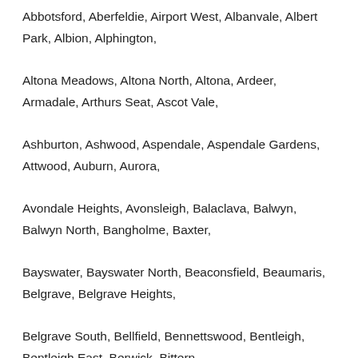Abbotsford, Aberfeldie, Airport West, Albanvale, Albert Park, Albion, Alphington, Altona Meadows, Altona North, Altona, Ardeer, Armadale, Arthurs Seat, Ascot Vale, Ashburton, Ashwood, Aspendale, Aspendale Gardens, Attwood, Auburn, Aurora, Avondale Heights, Avonsleigh, Balaclava, Balwyn, Balwyn North, Bangholme, Baxter, Bayswater, Bayswater North, Beaconsfield, Beaumaris, Belgrave, Belgrave Heights, Belgrave South, Bellfield, Bennettswood, Bentleigh, Bentleigh East, Berwick, Bittern, Black Rock, Blackburn, Blackburn North, Blackburn South, Blairgowrie, Bonbeach, Boronia, Box Hill, Box Hill North, Box Hill South, Braeside, Braybrook, Briar Hill, Brighton, Brighton East, Broadmeadows, Brookfield, Brooklyn, Brunswick, Brunswick East, Brunswick West, Bulla, Bulleen, Bundoora, Burnley, Burnside, Burnside Heights, Burwood, Burwood East, Cairnlea, Calder Park, Camberwell, Campbellfield, Canterbury, Carlton North, Carlton, Carnegie, Caroline Springs, Carrum, Carrum Downs, Caulfield, Caulfield East, Caulfield North, Caulfield South, Chadstone, Chelsea, Chelsea Heights, Cheltenham, Chirnside Park, Clarinda, Clayton, Clayton South, Clematis, Clifton Hill, Coburg, Coburg North, Cocoroc, Coldstream, Collingwood, Coolaroo, Craigieburn, Cranbourne, Cranbourne East, Cranbourne North, Cranbourne South, Cranbourne West, Cremorne, Crib Point, Croydon, Croydon Hills, Croydon North, Croydon South, Dallas, Dandenong, Dandenong North